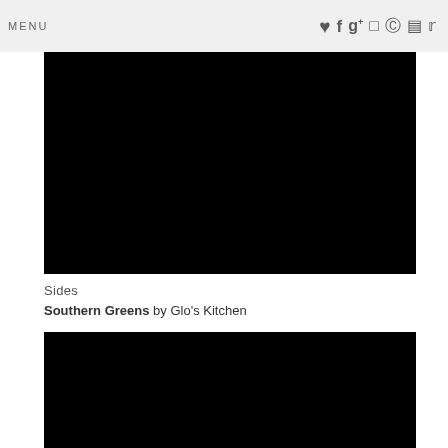MENU
[Figure (photo): Large black image placeholder (top)]
Sides
Southern Greens by Glo's Kitchen
[Figure (photo): Large black image placeholder (bottom)]